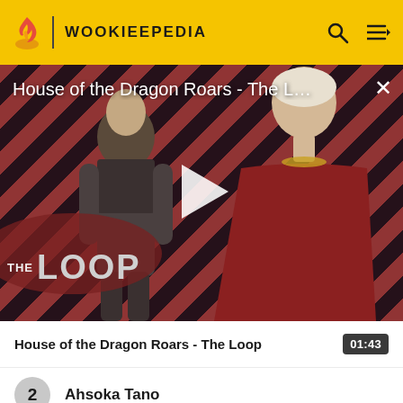WOOKIEEPEDIA
[Figure (screenshot): Video thumbnail for 'House of the Dragon Roars - The Loop' showing two characters against a diagonal red and dark striped background with a large play button in the center and 'THE LOOP' logo in the lower left]
House of the Dragon Roars - The Loop
01:43
2 Ahsoka Tano